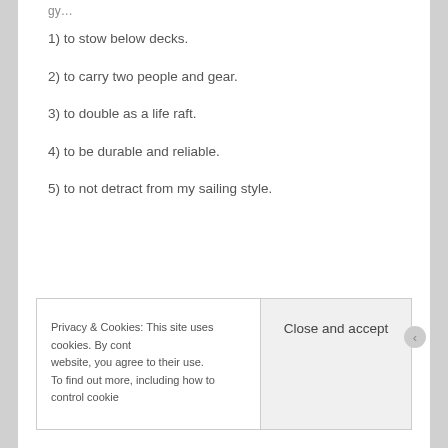1) to stow below decks.
2) to carry two people and gear.
3) to double as a life raft.
4) to be durable and reliable.
5) to not detract from my sailing style.
Privacy & Cookies: This site uses cookies. By cont website, you agree to their use.
To find out more, including how to control cookie
Close and accept